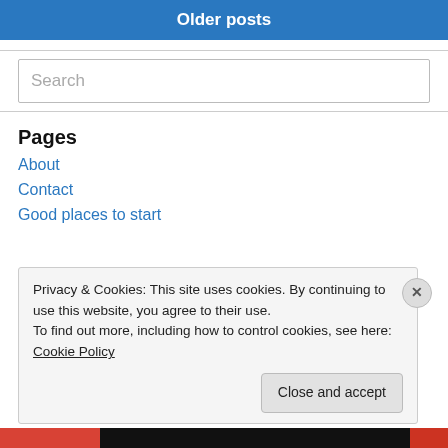Older posts
Search
Pages
About
Contact
Good places to start
Privacy & Cookies: This site uses cookies. By continuing to use this website, you agree to their use.
To find out more, including how to control cookies, see here: Cookie Policy
Close and accept